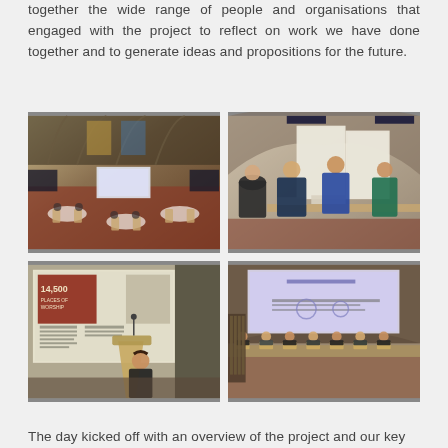together the wide range of people and organisations that engaged with the project to reflect on work we have done together and to generate ideas and propositions for the future.
[Figure (photo): Interior of a large church/cathedral set up for a conference event with round tables, chairs, and a projection screen at the far end]
[Figure (photo): People standing and looking at exhibition displays/boards inside a church venue, examining printed materials]
[Figure (photo): A woman speaking at a podium/lectern with a projected presentation slide showing '14,500 places of worship' behind her]
[Figure (photo): A panel of people seated on a stage in a church venue, with a projected presentation slide visible behind them]
The day kicked off with an overview of the project and our key